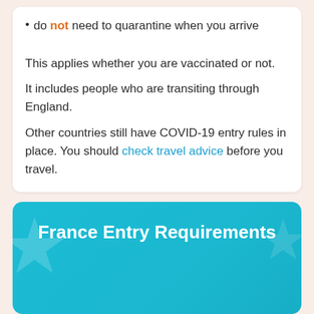do not need to quarantine when you arrive
This applies whether you are vaccinated or not.
It includes people who are transiting through England.
Other countries still have COVID-19 entry rules in place. You should check travel advice before you travel.
France Entry Requirements
Please note that this information is as a guide and subject to change – we recommend checking the UK & French Government websites before travel.
As of 1st August 2022, all health control measures at